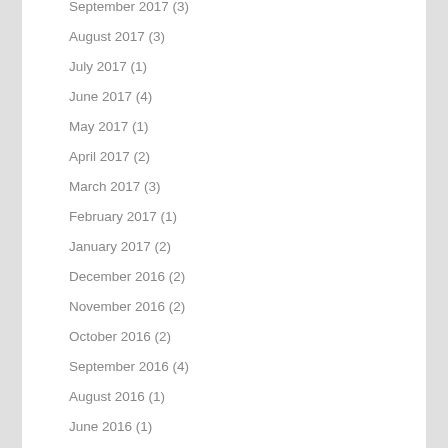September 2017 (3)
August 2017 (3)
July 2017 (1)
June 2017 (4)
May 2017 (1)
April 2017 (2)
March 2017 (3)
February 2017 (1)
January 2017 (2)
December 2016 (2)
November 2016 (2)
October 2016 (2)
September 2016 (4)
August 2016 (1)
June 2016 (1)